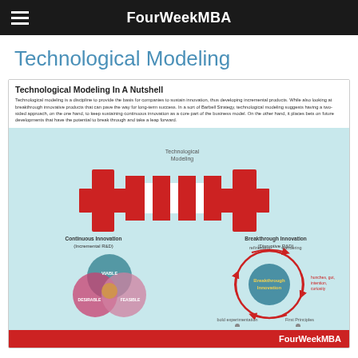FourWeekMBA
Technological Modeling
[Figure (infographic): Technological Modeling In A Nutshell infographic. Shows a barbell shape in red connecting 'Continuous Innovation (Incremental R&D)' on the left (with a Venn diagram of VIABLE, DESIRABLE, FEASIBLE circles) and 'Breakthrough Innovation (Disruptive R&D)' on the right (with a circular cycle diagram showing refinement, wandering, hunches/gut/intuition/curiosity, First Principles, bold experimentation, and Breakthrough Innovation at center). 'Technological Modeling' label is above the barbell center. FourWeekMBA logo in red footer.]
Technological modeling is a